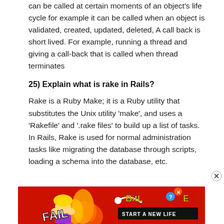can be called at certain moments of an object's life cycle for example it can be called when an object is validated, created, updated, deleted, A call back is short lived. For example, running a thread and giving a call-back that is called when thread terminates
25) Explain what is rake in Rails?
Rake is a Ruby Make; it is a Ruby utility that substitutes the Unix utility ‘make’, and uses a ‘Rakefile’ and ‘.rake files’ to build up a list of tasks. In Rails, Rake is used for normal administration tasks like migrating the database through scripts, loading a schema into the database, etc.
[Figure (other): BitLife advertisement banner with 'FAIL' text, character, flames, and 'START A NEW LIFE' tagline on red background]